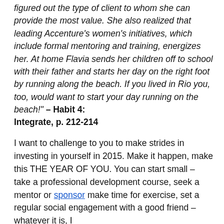figured out the type of client to whom she can provide the most value. She also realized that leading Accenture's women's initiatives, which include formal mentoring and training, energizes her. At home Flavia sends her children off to school with their father and starts her day on the right foot by running along the beach. If you lived in Rio you, too, would want to start your day running on the beach!" – Habit 4: Integrate, p. 212-214
I want to challenge to you to make strides in investing in yourself in 2015. Make it happen, make this THE YEAR OF YOU. You can start small – take a professional development course, seek a mentor or sponsor make time for exercise, set a regular social engagement with a good friend – whatever it is, I